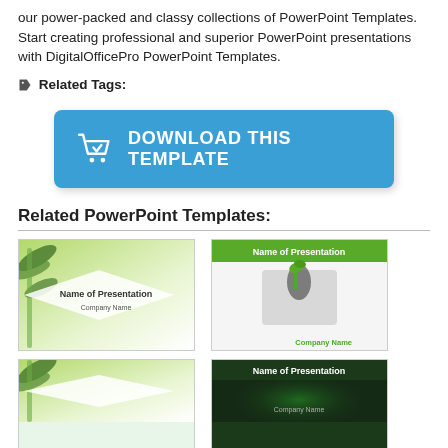our power-packed and classy collections of PowerPoint Templates. Start creating professional and superior PowerPoint presentations with DigitalOfficePro PowerPoint Templates.
🏷 Related Tags:
[Figure (other): Blue download button with shopping cart icon and text DOWNLOAD THIS TEMPLATE]
Related PowerPoint Templates:
[Figure (other): Thumbnail of green bamboo PowerPoint template with Name of Presentation and Company Name text]
[Figure (other): Thumbnail of green plant/nature PowerPoint template with Name of Presentation header and Company Name text]
[Figure (other): Thumbnail of green bamboo PowerPoint template (partial, bottom row left)]
[Figure (other): Thumbnail of dark green PowerPoint template with Name of Presentation and Company Name text (bottom row right)]